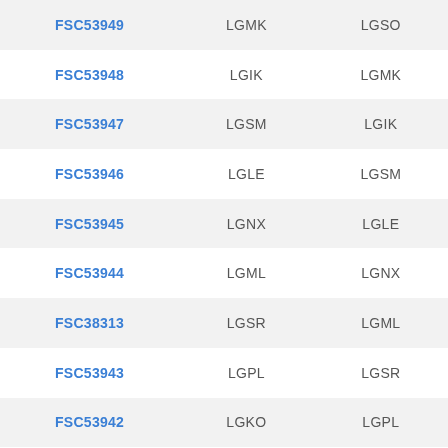| FSC53949 | LGMK | LGSO |
| FSC53948 | LGIK | LGMK |
| FSC53947 | LGSM | LGIK |
| FSC53946 | LGLE | LGSM |
| FSC53945 | LGNX | LGLE |
| FSC53944 | LGML | LGNX |
| FSC38313 | LGSR | LGML |
| FSC53943 | LGPL | LGSR |
| FSC53942 | LGKO | LGPL |